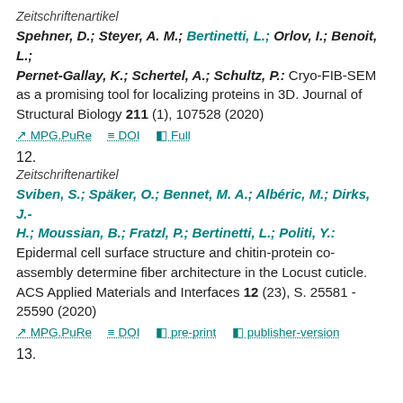Zeitschriftenartikel
Spehner, D.; Steyer, A. M.; Bertinetti, L.; Orlov, I.; Benoit, L.; Pernet-Gallay, K.; Schertel, A.; Schultz, P.: Cryo-FIB-SEM as a promising tool for localizing proteins in 3D. Journal of Structural Biology 211 (1), 107528 (2020)
MPG.PuRe   DOI   Full
12.
Zeitschriftenartikel
Sviben, S.; Späker, O.; Bennet, M. A.; Albéric, M.; Dirks, J.-H.; Moussian, B.; Fratzl, P.; Bertinetti, L.; Politi, Y.: Epidermal cell surface structure and chitin-protein co-assembly determine fiber architecture in the Locust cuticle. ACS Applied Materials and Interfaces 12 (23), S. 25581 - 25590 (2020)
MPG.PuRe   DOI   pre-print   publisher-version
13.